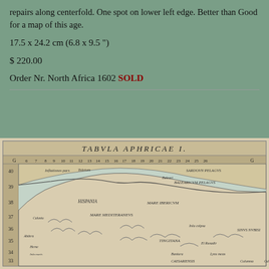repairs along centerfold. One spot on lower left edge. Better than Good for a map of this age.
17.5 x 24.2 cm (6.8 x 9.5 ")
$ 220.00
Order Nr. North Africa 1602 SOLD
[Figure (photo): Antique map titled TABVLA APHRICAE I., showing North Africa with Latin place names, grid coordinates, coastlines, and geographic features typical of a 1602 Ptolemaic-style map.]